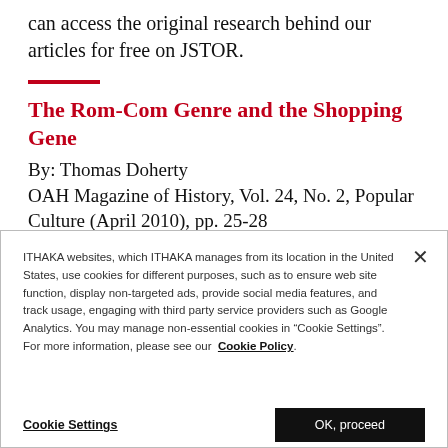can access the original research behind our articles for free on JSTOR.
The Rom-Com Genre and the Shopping Gene
By: Thomas Doherty
OAH Magazine of History, Vol. 24, No. 2, Popular Culture (April 2010), pp. 25-28
Oxford University Press on behalf of
ITHAKA websites, which ITHAKA manages from its location in the United States, use cookies for different purposes, such as to ensure web site function, display non-targeted ads, provide social media features, and track usage, engaging with third party service providers such as Google Analytics. You may manage non-essential cookies in “Cookie Settings”. For more information, please see our Cookie Policy.
Cookie Settings
OK, proceed